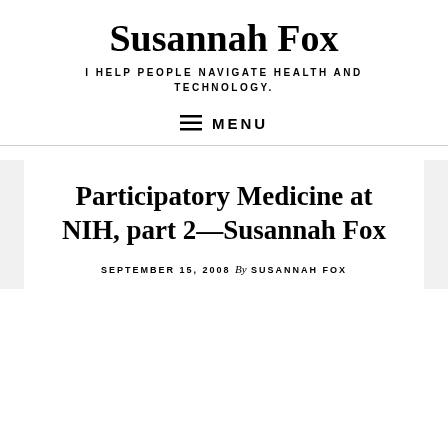Susannah Fox
I HELP PEOPLE NAVIGATE HEALTH AND TECHNOLOGY.
MENU
Participatory Medicine at NIH, part 2—Susannah Fox
SEPTEMBER 15, 2008 By SUSANNAH FOX